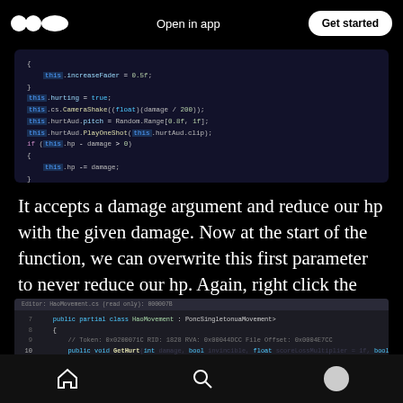Open in app | Get started
[Figure (screenshot): Dark-themed code editor screenshot showing Unity C# code with this.increaseFader, this.hurting, this.cs.CameraShake, this.hurtAud.pitch, this.hurtAud.PlayOneShot, and if (this.hp - damage > 0) this.hp -= damage;]
It accepts a damage argument and reduce our hp with the given damage. Now at the start of the function, we can overwrite this first parameter to never reduce our hp. Again, right click the function, and select edit method.
[Figure (screenshot): Code editor showing: public partial class HaoMovement : FoncSingletonuaMovement { // Token: 0x0200071C RID: 1828 RVA: 0x00044DCC File Offset: 0x0004E7CC public void GetHurt(int damage, bool invincible, float scoreLossMultiplier = 1f, bool explosion = false, bool isntablack = false) { damage = 0;]
Home | Search | Profile